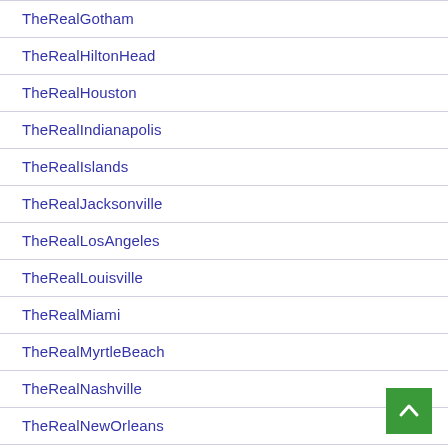TheRealGotham
TheRealHiltonHead
TheRealHouston
TheRealIndianapolis
TheRealIslands
TheRealJacksonville
TheRealLosAngeles
TheRealLouisville
TheRealMiami
TheRealMyrtleBeach
TheRealNashville
TheRealNewOrleans
TheRealOceanCity